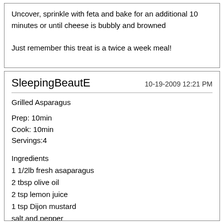Uncover, sprinkle with feta and bake for an additional 10 minutes or until cheese is bubbly and browned

Just remember this treat is a twice a week meal!
SleepingBeautE   10-19-2009 12:21 PM
Grilled Asparagus
Prep: 10min
Cook: 10min
Servings:4
Ingredients
1 1/2lb fresh asaparagus
2 tbsp olive oil
2 tsp lemon juice
1 tsp Dijon mustard
salt and pepper
tarragon or French shallots (optional)
Preparation
Preheat oven to 450. Cut and discard tails of asparagus. Place asparagus on a foil-lined rimmed baking sheet. Brush with half the olive oil (1 tbsp) and toss to coat. Make sure asparagus are tightly aligned. Grill in oven for 8-10 min, turn once. Meanwhile, in a small bowl, whisk remaining olive oil (1tbsp), lemon juice and mustard. When asparagus are done, lay them in serving platter and